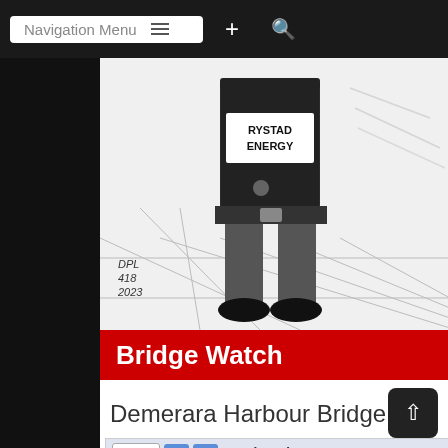Navigation Menu
[Figure (illustration): Ink illustration showing lower body of a person wearing a vest labeled 'RYSTAD ENERGY', with signature DRL 418 2023 in lower left corner]
Bridge Watch
Demerara Harbour Bridge
| Wednesday, August 24 |  |
| --- | --- |
| 1:00am | 01:00 |
| Thursday, August 25 |  |
| 3:00am | 03:00 |
Events shown in time zone: Guyana Time